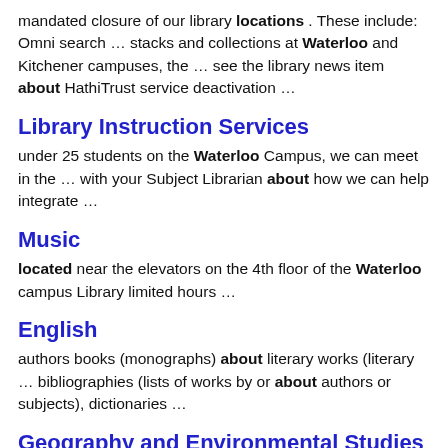mandated closure of our library locations . These include: Omni search … stacks and collections at Waterloo and Kitchener campuses, the … see the library news item about HathiTrust service deactivation …
Library Instruction Services
under 25 students on the Waterloo Campus, we can meet in the … with your Subject Librarian about how we can help integrate …
Music
located near the elevators on the 4th floor of the Waterloo campus Library limited hours …
English
authors books (monographs) about literary works (literary … bibliographies (lists of works by or about authors or subjects), dictionaries …
Geography and Environmental Studies